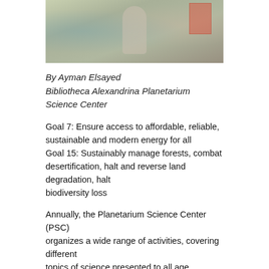[Figure (photo): Outdoor photo showing a person standing in a grassy area with signs or banners, appearing to be at an educational or science event.]
By Ayman Elsayed
Bibliotheca Alexandrina Planetarium Science Center
Goal 7: Ensure access to affordable, reliable, sustainable and modern energy for all
Goal 15: Sustainably manage forests, combat desertification, halt and reverse land degradation, halt biodiversity loss
Annually, the Planetarium Science Center (PSC) organizes a wide range of activities, covering different topics of science presented to all age categories, focusing on kids between 4 and 16 years old. Most of the programs focus on sustainability objectives, and